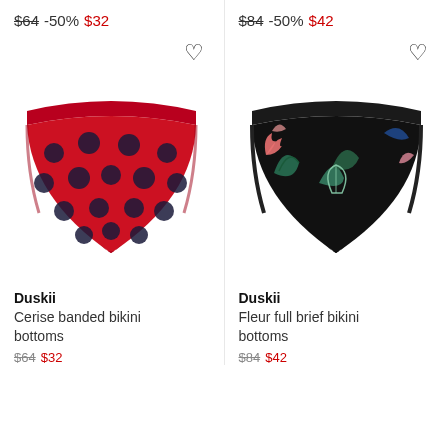$64 -50% $32
[Figure (photo): Red bikini bottoms with dark navy polka dots (Duskii Cerise banded bikini bottoms)]
$84 -50% $42
[Figure (photo): Black bikini bottoms with colorful tropical/floral print (Duskii Fleur full brief bikini bottoms)]
Duskii
Cerise banded bikini bottoms
Duskii
Fleur full brief bikini bottoms